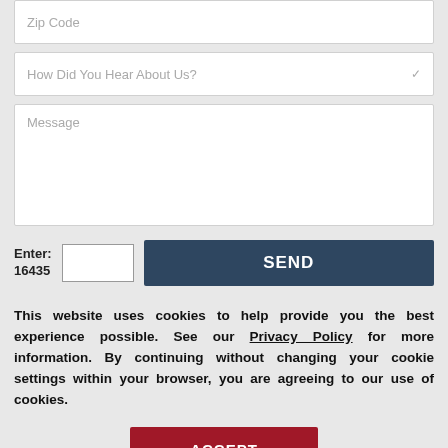Zip Code
How Did You Hear About Us?
Message
Enter: 16435
SEND
This website uses cookies to help provide you the best experience possible. See our Privacy Policy for more information. By continuing without changing your cookie settings within your browser, you are agreeing to our use of cookies.
ACCEPT